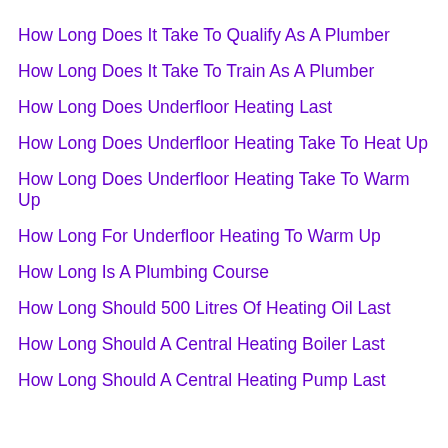How Long Does It Take To Qualify As A Plumber
How Long Does It Take To Train As A Plumber
How Long Does Underfloor Heating Last
How Long Does Underfloor Heating Take To Heat Up
How Long Does Underfloor Heating Take To Warm Up
How Long For Underfloor Heating To Warm Up
How Long Is A Plumbing Course
How Long Should 500 Litres Of Heating Oil Last
How Long Should A Central Heating Boiler Last
How Long Should A Central Heating Pump Last